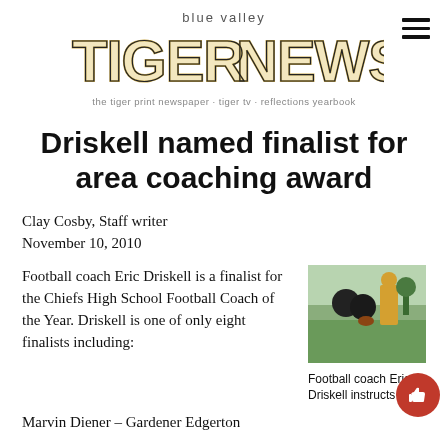blue valley TIGER NEWS · the tiger print newspaper · tiger tv · reflections yearbook
Driskell named finalist for area coaching award
Clay Cosby, Staff writer
November 10, 2010
Football coach Eric Driskell is a finalist for the Chiefs High School Football Coach of the Year. Driskell is one of only eight finalists including:
[Figure (photo): Photo of football coach Eric Driskell instructing players on the field]
Football coach Eric Driskell instructs a
Marvin Diener – Gardener Edgerton